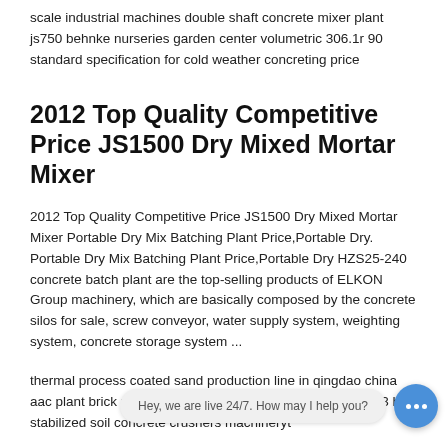scale industrial machines double shaft concrete mixer plant js750 behnke nurseries garden center volumetric 306.1r 90 standard specification for cold weather concreting price
2012 Top Quality Competitive Price JS1500 Dry Mixed Mortar Mixer
2012 Top Quality Competitive Price JS1500 Dry Mixed Mortar Mixer Portable Dry Mix Batching Plant Price,Portable Dry. Portable Dry Mix Batching Plant Price,Portable Dry HZS25-240 concrete batch plant are the top-selling products of ELKON Group machinery, which are basically composed by the concrete silos for sale, screw conveyor, water supply system, weighting system, concrete storage system ...
thermal process coated sand production line in qingdao china aac plant brick making machine production line mould 60m3 h stabilized soil concrete crushers machineryt
js500 twin shaft concrete mixer plant